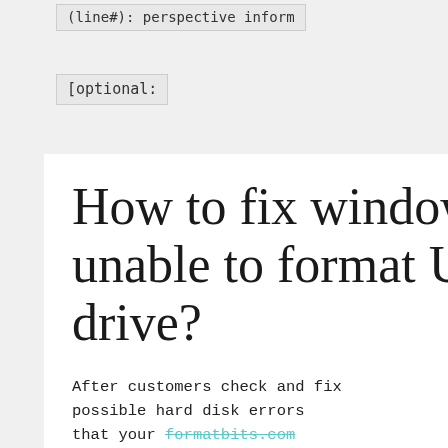(line#): perspective inform
[optional:
How to fix windows unable to format USB drive?
After customers check and fix possible hard disk errors that your formatbits.com cannot format, the best thing to do is to click the USB drive in our own main interface of AOMEI Partition Assistant Standard and select